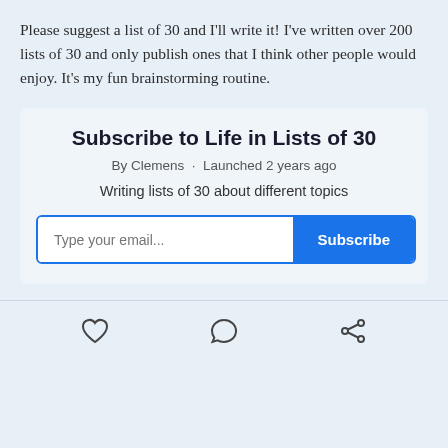Please suggest a list of 30 and I'll write it! I've written over 200 lists of 30 and only publish ones that I think other people would enjoy. It's my fun brainstorming routine.
Subscribe to Life in Lists of 30
By Clemens · Launched 2 years ago
Writing lists of 30 about different topics
[Figure (other): Email subscription form with text input placeholder 'Type your email...' and a blue Subscribe button]
Heart icon, Comment icon, Share icon